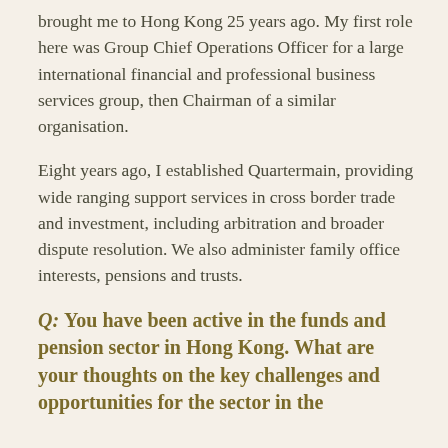brought me to Hong Kong 25 years ago. My first role here was Group Chief Operations Officer for a large international financial and professional business services group, then Chairman of a similar organisation.
Eight years ago, I established Quartermain, providing wide ranging support services in cross border trade and investment, including arbitration and broader dispute resolution. We also administer family office interests, pensions and trusts.
Q: You have been active in the funds and pension sector in Hong Kong. What are your thoughts on the key challenges and opportunities for the sector in the